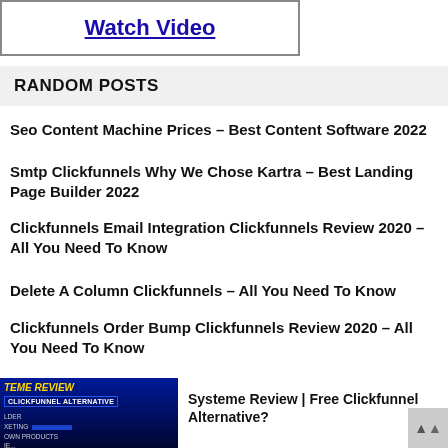[Figure (other): Watch Video button with border box]
RANDOM POSTS
Seo Content Machine Prices – Best Content Software 2022
Smtp Clickfunnels Why We Chose Kartra – Best Landing Page Builder 2022
Clickfunnels Email Integration Clickfunnels Review 2020 – All You Need To Know
Delete A Column Clickfunnels – All You Need To Know
Clickfunnels Order Bump Clickfunnels Review 2020 – All You Need To Know
[Figure (screenshot): Systeme Review thumbnail image showing TEME REVIEW and CLICKFUNNEL ALTERNATIVE text on dark blue background]
Systeme Review | Free Clickfunnel Alternative?